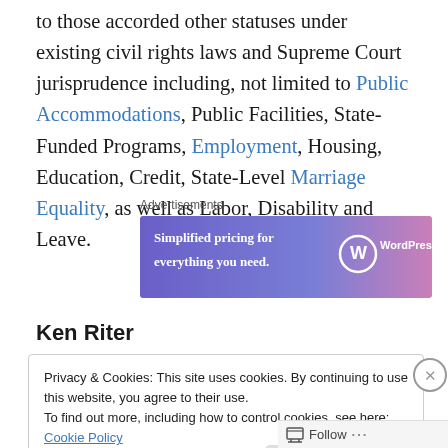to those accorded other statuses under existing civil rights laws and Supreme Court jurisprudence including, not limited to Public Accommodations, Public Facilities, State-Funded Programs, Employment, Housing, Education, Credit, State-Level Marriage Equality, as well as Labor, Disability and Leave.
[Figure (other): WordPress.com advertisement banner: 'Simplified pricing for everything you need.' with WordPress logo]
Ken Riter
Privacy & Cookies: This site uses cookies. By continuing to use this website, you agree to their use.
To find out more, including how to control cookies, see here: Cookie Policy
Close and accept
Follow